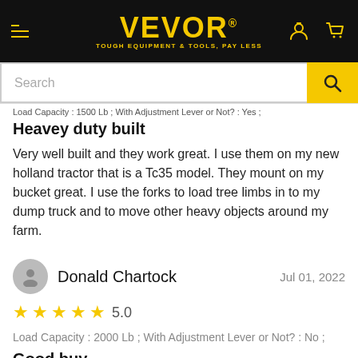[Figure (screenshot): VEVOR website header with logo, navigation menu icon, user icon, and cart icon on black background]
[Figure (screenshot): Search bar with text input and yellow search button]
Load Capacity : 1500 Lb ; With Adjustment Lever or Not? : Yes ;
Heavey duty built
Very well built and they work great. I use them on my new holland tractor that is a Tc35 model. They mount on my bucket great. I use the forks to load tree limbs in to my dump truck and to move other heavy objects around my farm.
0
Donald Chartock
Jul 01, 2022
★★★★★ 5.0
Load Capacity : 2000 Lb ; With Adjustment Lever or Not? : No ;
Good buy
For a beginner easy to learn how best to get the most out of my